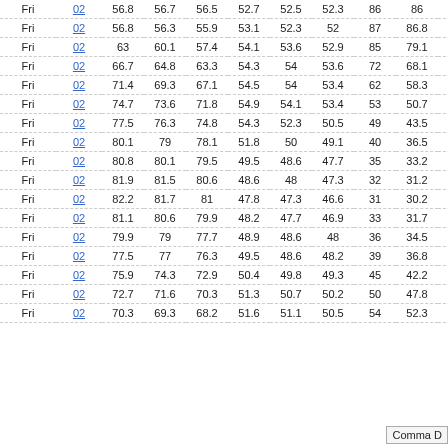| Day | Code | Val1 | Val2 | Val3 | Val4 | Val5 | Val6 | V7 | V8 | V9 |
| --- | --- | --- | --- | --- | --- | --- | --- | --- | --- | --- |
| Fri | 02 | 56.8 | 56.7 | 56.5 | 52.7 | 52.5 | 52.3 | 86 | 86 | 86 |
| Fri | 02 | 56.8 | 56.3 | 55.9 | 53.1 | 52.3 | 52 | 87 | 86.8 | 86 |
| Fri | 02 | 63 | 60.1 | 57.4 | 54.1 | 53.6 | 52.9 | 85 | 79.1 | 72 |
| Fri | 02 | 66.7 | 64.8 | 63.3 | 54.3 | 54 | 53.6 | 72 | 68.1 | 64 |
| Fri | 02 | 71.4 | 69.3 | 67.1 | 54.5 | 54 | 53.4 | 62 | 58.3 | 53 |
| Fri | 02 | 74.7 | 73.6 | 71.8 | 54.9 | 54.1 | 53.4 | 53 | 50.7 | 49 |
| Fri | 02 | 77.5 | 76.3 | 74.8 | 54.3 | 52.3 | 50.5 | 49 | 43.5 | 39 |
| Fri | 02 | 80.1 | 79 | 78.1 | 51.8 | 50 | 49.1 | 40 | 36.5 | 34 |
| Fri | 02 | 80.8 | 80.1 | 79.5 | 49.5 | 48.6 | 47.7 | 35 | 33.2 | 32 |
| Fri | 02 | 81.9 | 81.5 | 80.6 | 48.6 | 48 | 47.3 | 32 | 31.2 | 30 |
| Fri | 02 | 82.2 | 81.7 | 81 | 47.8 | 47.3 | 46.6 | 31 | 30.2 | 29 |
| Fri | 02 | 81.1 | 80.6 | 79.9 | 48.2 | 47.7 | 46.9 | 33 | 31.7 | 31 |
| Fri | 02 | 79.9 | 79 | 77.7 | 48.9 | 48.6 | 48 | 36 | 34.5 | 33 |
| Fri | 02 | 77.5 | 77 | 76.3 | 49.5 | 48.6 | 48.2 | 39 | 36.8 | 36 |
| Fri | 02 | 75.9 | 74.3 | 72.9 | 50.4 | 49.8 | 49.3 | 45 | 42.2 | 40 |
| Fri | 02 | 72.7 | 71.6 | 70.3 | 51.3 | 50.7 | 50.2 | 50 | 47.8 | 45 |
| Fri | 02 | 70.3 | 69.3 | 68.2 | 51.6 | 51.1 | 50.5 | 54 | 52.3 | 50 |